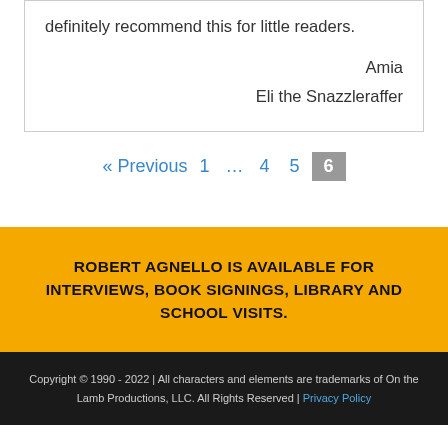definitely recommend this for little readers.
Amia
Eli the Snazzleraffer
« Previous  1  …  4  5  6
ROBERT AGNELLO IS AVAILABLE FOR INTERVIEWS, BOOK SIGNINGS, LIBRARY AND SCHOOL VISITS.
Copyright © 1990 - 2022 | All characters and elements are trademarks of On the Lamb Productions, LLC. All Rights Reserved | Privacy Policy